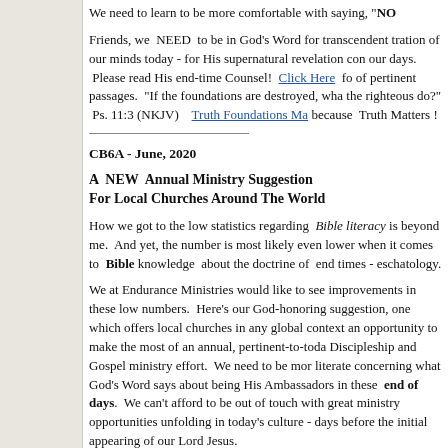We need to learn to be more comfortable with saying,  "NO
Friends, we  NEED  to be in God's Word for transcendent transformation of our minds today - for His supernatural revelation concerning our days.  Please read His end-time Counsel!  Click Here  for a list of pertinent passages.  "If the foundations are destroyed, what can the righteous do?"  Ps. 11:3 (NKJV)   Truth Foundations Ma... because  Truth Matters !
CB6A - June, 2020
A  NEW  Annual Ministry Suggestion For Local Churches Around The World
How we got to the low statistics regarding  Bible literacy is beyond me.  And yet, the number is most likely even lower when it comes to  Bible knowledge  about the doctrine of  end times - eschatology.
We at Endurance Ministries would like to see improvements in these low numbers.  Here's our God-honoring suggestion, one which offers local churches in any global context an opportunity to make the most of an annual, pertinent-to-today Discipleship and Gospel ministry effort.  We need to be more literate concerning what God's Word says about being His Ambassadors in these  end of days.  We can't afford to be out of touch with great ministry opportunities unfolding in today's culture - days before the initial appearing of our Lord Jesus.
[ A note on the suggestion linked immediately below:  Those residing in the northern hemisphere of our planet would nee...